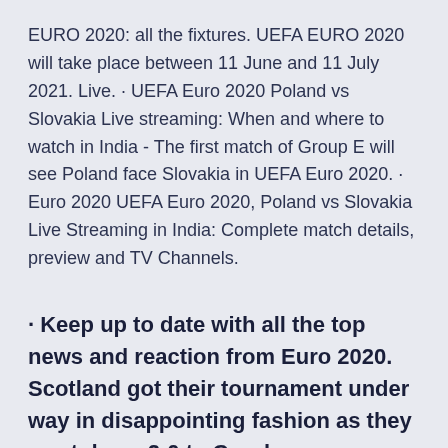EURO 2020: all the fixtures. UEFA EURO 2020 will take place between 11 June and 11 July 2021. Live. · UEFA Euro 2020 Poland vs Slovakia Live streaming: When and where to watch in India - The first match of Group E will see Poland face Slovakia in UEFA Euro 2020. · Euro 2020 UEFA Euro 2020, Poland vs Slovakia Live Streaming in India: Complete match details, preview and TV Channels.
· Keep up to date with all the top news and reaction from Euro 2020. Scotland got their tournament under way in disappointing fashion as they went down 2-0 to Czech